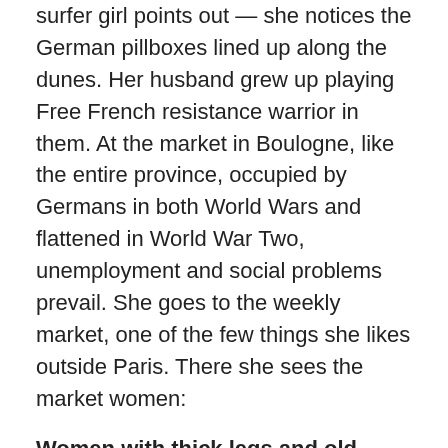surfer girl points out — she notices the German pillboxes lined up along the dunes. Her husband grew up playing Free French resistance warrior in them. At the market in Boulogne, like the entire province, occupied by Germans in both World Wars and flattened in World War Two, unemployment and social problems prevail. She goes to the weekly market, one of the few things she likes outside Paris. There she sees the market women:
Women with thick legs and old-fashioned floral aprons stand behind tables displaying a few handfuls of beans, four dirty eggs and one or two containers of potatoes and strawberries — or some other miscellany.
As valuable as this outsider account of the French is, an insider account by a French-American shines with insight. One French-American writer, Francine du Plessix Gray,